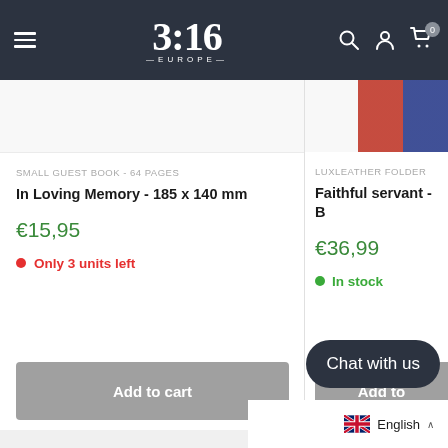3:16 EUROPE — navigation bar with hamburger menu, logo, search, account, and cart icons
SMALL GUEST BOOK - 64 PAGES
In Loving Memory - 185 x 140 mm
€15,95
Only 3 units left
Add to cart
LUXLEATHER FOLDER
Faithful servant - B
€36,99
In stock
Add to
Chat with us
English